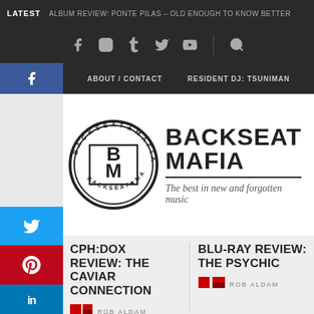LATEST   ALBUM REVIEW: PONTE PILAS – OLD ENOUGH TO KNOW BETTER
[Figure (screenshot): Navigation icons bar with Facebook, Instagram, Tumblr, Twitter, YouTube social icons and search icon]
ABOUT / CONTACT   RESIDENT DJ: TSUNIMAN
[Figure (logo): Backseat Mafia circular logo with BM initials]
BACKSEAT MAFIA
The best in new and forgotten music
CPH:DOX REVIEW: THE CAVIAR CONNECTION
ROB ALDAM
BLU-RAY REVIEW: THE PSYCHIC
ROB ALDAM
[Figure (infographic): Advertisement banner for Optics Planet 20 years, showing rifle image, Thyre logo, Save up to 40% off instantly, Shop Now button]
[Figure (infographic): Side social sharing buttons: Facebook, Twitter, Pinterest, LinkedIn, Tumblr, Infolinks]